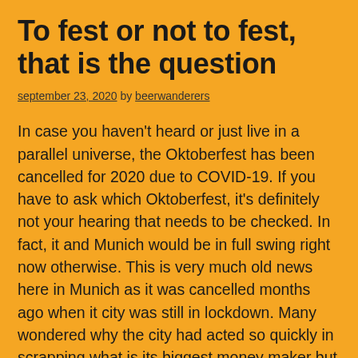To fest or not to fest, that is the question
september 23, 2020 by beerwanderers
In case you haven't heard or just live in a parallel universe, the Oktoberfest has been cancelled for 2020 due to COVID-19. If you have to ask which Oktoberfest, it's definitely not your hearing that needs to be checked. In fact, it and Munich would be in full swing right now otherwise. This is very much old news here in Munich as it was cancelled months ago when it city was still in lockdown. Many wondered why the city had acted so quickly in scrapping what is its biggest money maker but those who live here know well that it takes months to erect the small town which is the Wiesn. If they had spent the money to build it only to